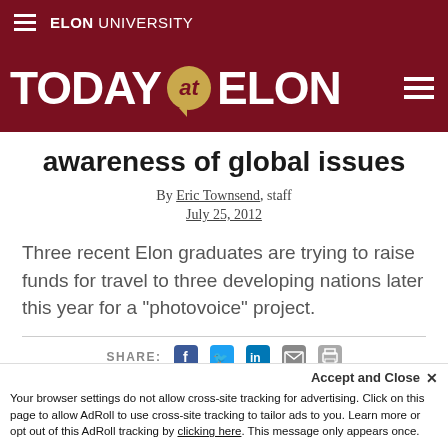ELON UNIVERSITY
[Figure (logo): TODAY at ELON logo with dark red background and gold speech bubble containing 'at']
awareness of global issues
By Eric Townsend, staff
July 25, 2012
Three recent Elon graduates are trying to raise funds for travel to three developing nations later this year for a "photovoice" project.
SHARE: [Facebook] [Twitter] [LinkedIn] [Email] [Print]
Accept and Close ✕
Your browser settings do not allow cross-site tracking for advertising. Click on this page to allow AdRoll to use cross-site tracking to tailor ads to you. Learn more or opt out of this AdRoll tracking by clicking here. This message only appears once.